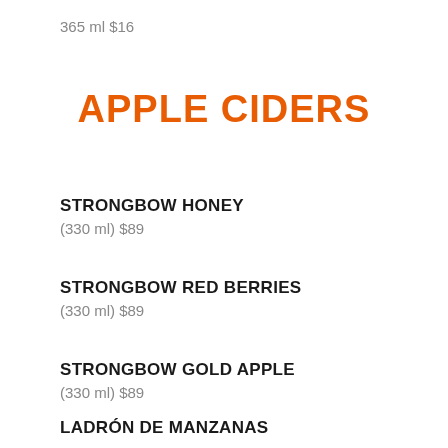365 ml $16
APPLE CIDERS
STRONGBOW HONEY
(330 ml)  $89
STRONGBOW RED BERRIES
(330 ml)  $89
STRONGBOW GOLD APPLE
(330 ml)  $89
LADRÓN DE MANZANAS